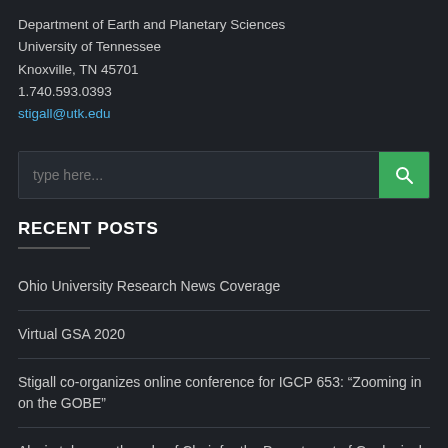Department of Earth and Planetary Sciences
University of Tennessee
Knoxville, TN 45701
1.740.593.0393
stigall@utk.edu
[Figure (screenshot): Search input bar with placeholder text 'type here...' and a green search button with magnifying glass icon on the right]
RECENT POSTS
Ohio University Research News Coverage
Virtual GSA 2020
Stigall co-organizes online conference for IGCP 653: “Zooming in on the GOBE”
Alycia takes on the role of Chair for the Department of Geological